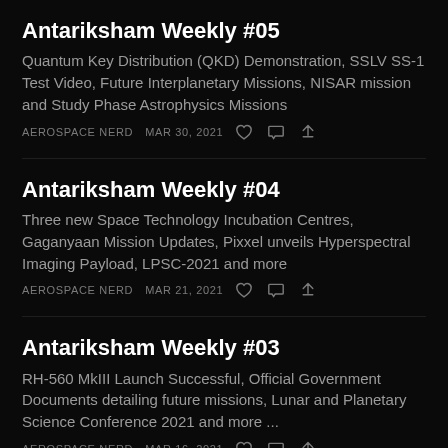Antariksham Weekly #05
Quantum Key Distribution (QKD) Demonstration, SSLV SS-1 Test Video, Future Interplanetary Missions, NISAR mission and Study Phase Astrophysics Missions
AEROSPACE NERD   MAR 30, 2021
Antariksham Weekly #04
Three new Space Technology Incubation Centres, Gaganyaan Mission Updates, Pixxel unveils Hyperspectral Imaging Payload, LPSC-2021 and more
AEROSPACE NERD   MAR 21, 2021
Antariksham Weekly #03
RH-560 MkIII Launch Successful, Official Government Documents detailing future missions, Lunar and Planetary Science Conference 2021 and more ...
AEROSPACE NERD   MAR 16, 2021